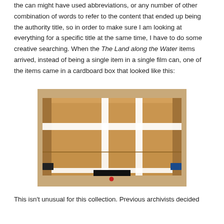the can might have used abbreviations, or any number of other combination of words to refer to the content that ended up being the authority title, so in order to make sure I am looking at everything for a specific title at the same time, I have to do some creative searching. When the The Land along the Water items arrived, instead of being a single item in a single film can, one of the items came in a cardboard box that looked like this:
[Figure (photo): A cardboard box sealed with white tape forming a cross pattern on top, sitting on a wooden surface. The box has a red dot and a redacted black label on the front.]
This isn't unusual for this collection. Previous archivists decided